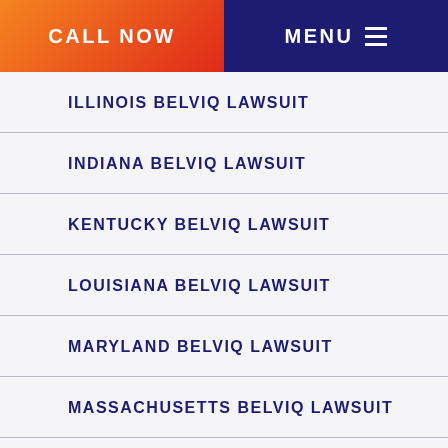CALL NOW | MENU
ILLINOIS BELVIQ LAWSUIT
INDIANA BELVIQ LAWSUIT
KENTUCKY BELVIQ LAWSUIT
LOUISIANA BELVIQ LAWSUIT
MARYLAND BELVIQ LAWSUIT
MASSACHUSETTS BELVIQ LAWSUIT